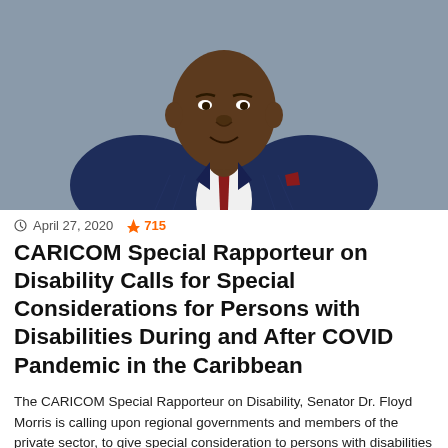[Figure (photo): A man in a navy blue pinstripe suit with a red tie and red pocket square, photographed against a grey background. He is smiling slightly and looking off to one side.]
April 27, 2020  715
CARICOM Special Rapporteur on Disability Calls for Special Considerations for Persons with Disabilities During and After COVID Pandemic in the Caribbean
The CARICOM Special Rapporteur on Disability, Senator Dr. Floyd Morris is calling upon regional governments and members of the private sector, to give special consideration to persons with disabilities during and after the COVID-19 pandemic. According to Senator Dr. Floyd Morris: "Regional governments and private sector companies have been forced to make significant accommodations over recent months.